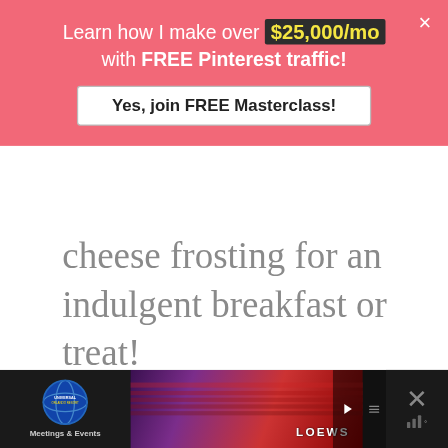[Figure (screenshot): Pink promotional banner overlay with text 'Learn how I make over $25,000/mo with FREE Pinterest traffic!' and a white CTA button 'Yes, join FREE Masterclass!' with a close X button]
cheese frosting for an indulgent breakfast or treat!
[Figure (screenshot): Bottom advertisement bar showing Universal Orlando Resort Meetings & Events ad with globe logo on left, purple/red conference hall photo in center with LOEWS HOTELS text, navigation arrow, info/close controls on right, and muted TV icon on far right]